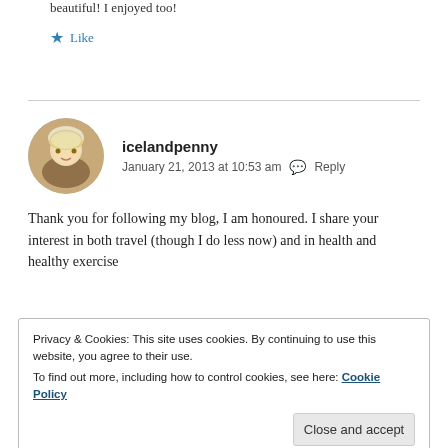beautiful! I enjoyed too!
★ Like
icelandpenny
January 21, 2013 at 10:53 am  Reply
Thank you for following my blog, I am honoured. I share your interest in both travel (though I do less now) and in health and healthy exercise
Privacy & Cookies: This site uses cookies. By continuing to use this website, you agree to their use.
To find out more, including how to control cookies, see here: Cookie Policy
Close and accept